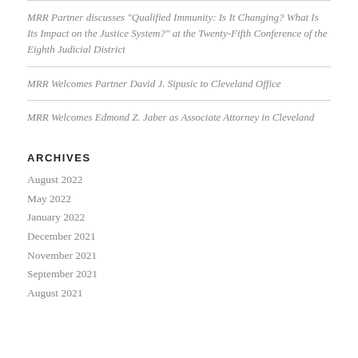MRR Partner discusses “Qualified Immunity: Is It Changing? What Is Its Impact on the Justice System?” at the Twenty-Fifth Conference of the Eighth Judicial District
MRR Welcomes Partner David J. Sipusic to Cleveland Office
MRR Welcomes Edmond Z. Jaber as Associate Attorney in Cleveland
ARCHIVES
August 2022
May 2022
January 2022
December 2021
November 2021
September 2021
August 2021